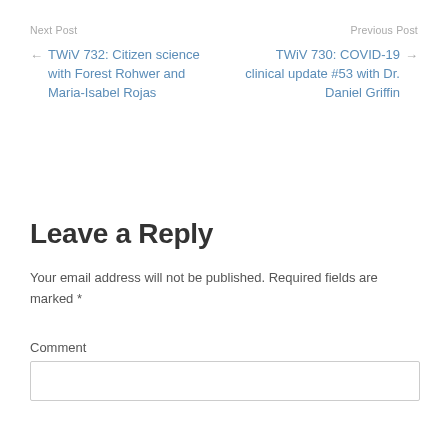Next Post
Previous Post
← TWiV 732: Citizen science with Forest Rohwer and Maria-Isabel Rojas
TWiV 730: COVID-19 clinical update #53 with Dr. Daniel Griffin →
Leave a Reply
Your email address will not be published. Required fields are marked *
Comment